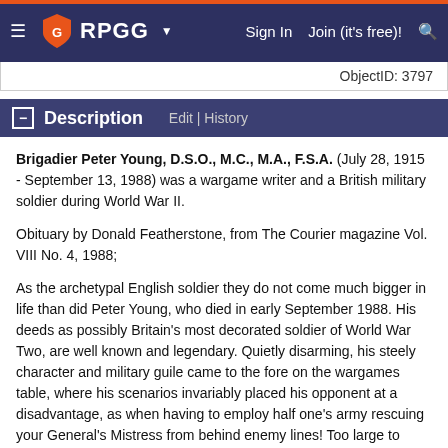RPGG | Sign In | Join (it's free)!
ObjectID: 3797
Description  Edit | History
Brigadier Peter Young, D.S.O., M.C., M.A., F.S.A. (July 28, 1915 - September 13, 1988) was a wargame writer and a British military soldier during World War II.

Obituary by Donald Featherstone, from The Courier magazine Vol. VIII No. 4, 1988;

As the archetypal English soldier they do not come much bigger in life than did Peter Young, who died in early September 1988. His deeds as possibly Britain's most decorated soldier of World War Two, are well known and legendary. Quietly disarming, his steely character and military guile came to the fore on the wargames table, where his scenarios invariably placed his opponent at a disadvantage, as when having to employ half one's army rescuing your General's Mistress from behind enemy lines! Too large to reach across, his huge wargames table had a hinged trapdoor in its centre, through which the Brigadier's beaming face would emerge to move his troops, adversely disturbing those of his opponent in the process. He was one of the very earliest British wargamers, battling with Captain Sachs and Charles Grant at pre-World War Two